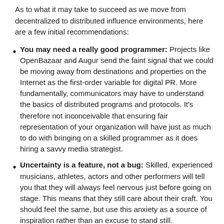As to what it may take to succeed as we move from decentralized to distributed influence environments, here are a few initial recommendations:
You may need a really good programmer: Projects like OpenBazaar and Augur send the faint signal that we could be moving away from destinations and properties on the Internet as the first-order variable for digital PR. More fundamentally, communicators may have to understand the basics of distributed programs and protocols. It's therefore not inconceivable that ensuring fair representation of your organization will have just as much to do with bringing on a skilled programmer as it does hiring a savvy media strategist.
Uncertainty is a feature, not a bug: Skilled, experienced musicians, athletes, actors and other performers will tell you that they will always feel nervous just before going on stage. This means that they still care about their craft. You should feel the same, but use this anxiety as a source of inspiration rather than an excuse to stand still.
Get your hands dirty: Since my early days in